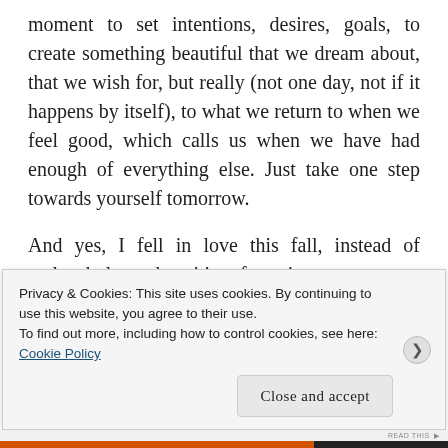moment to set intentions, desires, goals, to create something beautiful that we dream about, that we wish for, but really (not one day, not if it happens by itself), to what we return to when we feel good, which calls us when we have had enough of everything else. Just take one step towards yourself tomorrow.
And yes, I fell in love this fall, instead of melancholy and waiting for winter to pass to become active again, I fell in love with my life now!
Tijana Stuplianin
Privacy & Cookies: This site uses cookies. By continuing to use this website, you agree to their use.
To find out more, including how to control cookies, see here: Cookie Policy
Close and accept